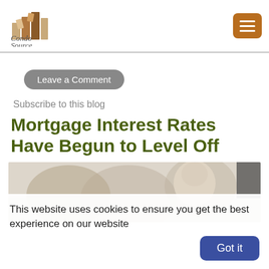[Figure (logo): Condo Source logo with building icon]
Leave a Comment
Subscribe to this blog
Mortgage Interest Rates Have Begun to Level Off
[Figure (photo): Photo of baby/person at a table, blurred background]
This website uses cookies to ensure you get the best experience on our website
Got it